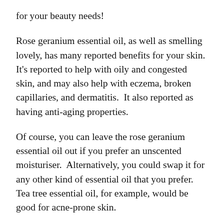for your beauty needs!
Rose geranium essential oil, as well as smelling lovely, has many reported benefits for your skin.  It's reported to help with oily and congested skin, and may also help with eczema, broken capillaries, and dermatitis.  It also reported as having anti-aging properties.
Of course, you can leave the rose geranium essential oil out if you prefer an unscented moisturiser.  Alternatively, you could swap it for any other kind of essential oil that you prefer.  Tea tree essential oil, for example, would be good for acne-prone skin.
One word of caution though – do your research first before selecting your essential oil.  Some essential oils are what's known as phototoxic.  This means that these